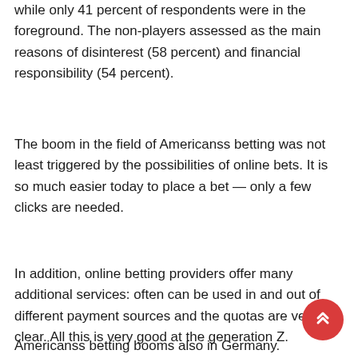while only 41 percent of respondents were in the foreground. The non-players assessed as the main reasons of disinterest (58 percent) and financial responsibility (54 percent).
The boom in the field of Americanss betting was not least triggered by the possibilities of online bets. It is so much easier today to place a bet — only a few clicks are needed.
In addition, online betting providers offer many additional services: often can be used in and out of different payment sources and the quotas are very clear. All this is very good at the generation Z.
Americanss betting booms also in Germany.